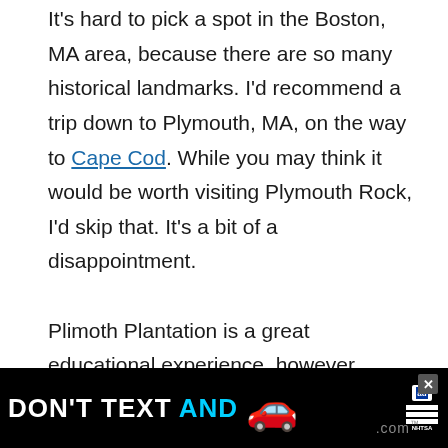It's hard to pick a spot in the Boston, MA area, because there are so many historical landmarks. I'd recommend a trip down to Plymouth, MA, on the way to Cape Cod. While you may think it would be worth visiting Plymouth Rock, I'd skip that. It's a bit of a disappointment.

Plimoth Plantation is a great educational experience, however. Historical interpreters bring history to life while showcasing what life was like back in the 17th Century. It's located about an hour from...
[Figure (infographic): Advertisement banner: 'DON'T TEXT AND' with car emoji, ad badge, and NHTSA logo on black background. Close (X) button visible. Partial website URL visible at bottom right.]